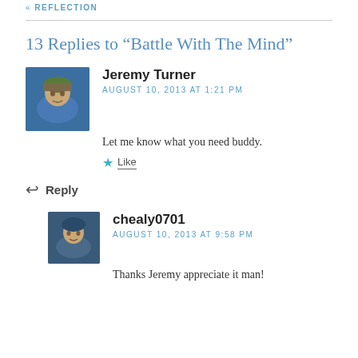« REFLECTION
13 Replies to “Battle With The Mind”
Jeremy Turner
AUGUST 10, 2013 AT 1:21 PM
Let me know what you need buddy.
★ Like
Reply
chealy0701
AUGUST 10, 2013 AT 9:58 PM
Thanks Jeremy appreciate it man!